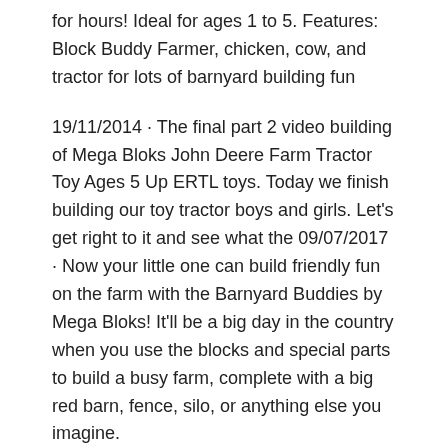for hours! Ideal for ages 1 to 5. Features: Block Buddy Farmer, chicken, cow, and tractor for lots of barnyard building fun
19/11/2014 · The final part 2 video building of Mega Bloks John Deere Farm Tractor Toy Ages 5 Up ERTL toys. Today we finish building our toy tractor boys and girls. Let's get right to it and see what the 09/07/2017 · Now your little one can build friendly fun on the farm with the Barnyard Buddies by Mega Bloks! It'll be a big day in the country when you use the blocks and special parts to build a busy farm, complete with a big red barn, fence, silo, or anything else you imagine.
Watch imagination grow when your little one builds a harvest adventure with the Farmhouse Friends by Mega Bloks! Build a busy barnyard for your friendly Farmer and adorable animal Block Buddies, using the blocks, special parts, and big